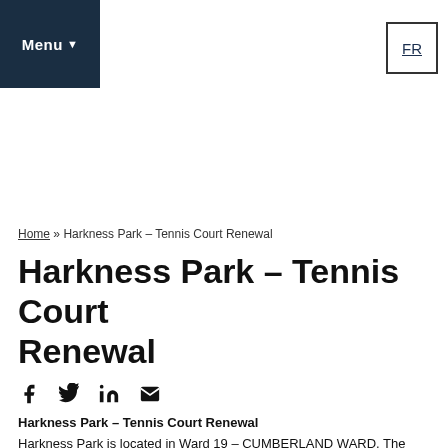Menu ▼
FR
Home » Harkness Park – Tennis Court Renewal
Harkness Park – Tennis Court Renewal
[Figure (infographic): Social share icons: Facebook, Twitter, LinkedIn, Email]
Harkness Park – Tennis Court Renewal
Harkness Park is located in Ward 19 – CUMBERLAND WARD. The Park currently provides nearby residents with